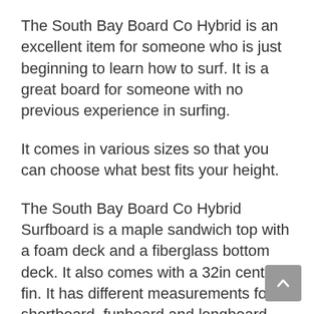The South Bay Board Co Hybrid is an excellent item for someone who is just beginning to learn how to surf. It is a great board for someone with no previous experience in surfing.
It comes in various sizes so that you can choose what best fits your height.
The South Bay Board Co Hybrid Surfboard is a maple sandwich top with a foam deck and a fiberglass bottom deck. It also comes with a 32in center fin. It has different measurements for its shortboard, funboard and longboard and is made to be able to fit in the FCSII fin system. This surfboard is available in a right or a left. It comes with some of the best hardware on the market it…